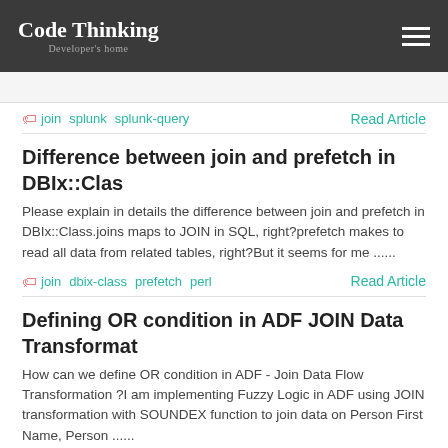Code Thinking — Developer's home
join  splunk  splunk-query
Read Article
Difference between join and prefetch in DBIx::Clas
Please explain in details the difference between join and prefetch in DBIx::Class.joins maps to JOIN in SQL, right?prefetch makes to read all data from related tables, right?But it seems for me ......
join  dbix-class  prefetch  perl
Read Article
Defining OR condition in ADF JOIN Data Transformat
How can we define OR condition in ADF - Join Data Flow Transformation ?I am implementing Fuzzy Logic in ADF using JOIN transformation with SOUNDEX function to join data on Person First Name, Person ......
inner-join  fuzzy-logic  fuzzy-comparison
Read Article
SQL query-using cross join